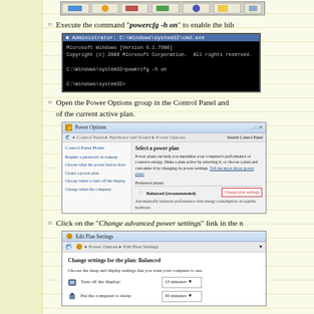[Figure (screenshot): Top portion of a Windows taskbar/toolbar screenshot cropped at top of page]
Execute the command "powercfg -h on" to enable the hib...
[Figure (screenshot): Windows cmd.exe window showing: Microsoft Windows [Version 6.1.7600] Copyright (c) 2009 Microsoft Corporation. All rights reserved. C:\Windows\system32>powercfg -h on C:\Windows\system32>]
Open the Power Options group in the Control Panel and... of the current active plan.
[Figure (screenshot): Windows Power Options Control Panel window showing power plan selection with Balanced (recommended) plan and Change plan settings button]
Click on the "Change advanced power settings" link in the n...
[Figure (screenshot): Windows Edit Plan Settings dialog showing Change settings for the plan: Balanced, Turn off the display: 10 minutes, Put the computer to sleep: 30 minutes]